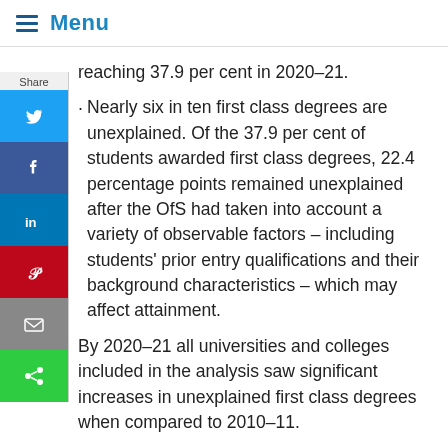Menu
reaching 37.9 per cent in 2020–21.
Nearly six in ten first class degrees are unexplained. Of the 37.9 per cent of students awarded first class degrees, 22.4 percentage points remained unexplained after the OfS had taken into account a variety of observable factors – including students' prior entry qualifications and their background characteristics – which may affect attainment.
By 2020–21 all universities and colleges included in the analysis saw significant increases in unexplained first class degrees when compared to 2010–11.
Rates of first class awards have risen for all